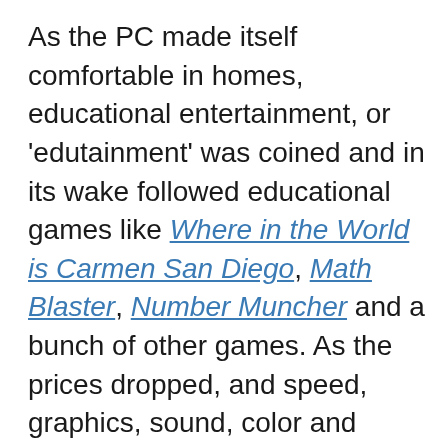As the PC made itself comfortable in homes, educational entertainment, or 'edutainment' was coined and in its wake followed educational games like Where in the World is Carmen San Diego, Math Blaster, Number Muncher and a bunch of other games. As the prices dropped, and speed, graphics, sound, color and memory in the PC got better, gaming increased in popularity. Over the last couple of decades, the reach of Internet technology has widened, making possible Massively Multiplayer Online Games (MMO Games), where players in various avatars